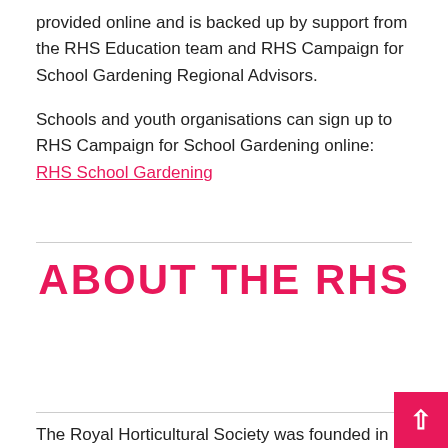provided online and is backed up by support from the RHS Education team and RHS Campaign for School Gardening Regional Advisors.
Schools and youth organisations can sign up to RHS Campaign for School Gardening online: RHS School Gardening
ABOUT THE RHS
The Royal Horticultural Society was founded in 1804 by Sir Joseph Banks and John Wedgwood to inspire passion and excellence in the science, art and practice of horticulture. Our vision is to enrich everyone's life through plants, and make the